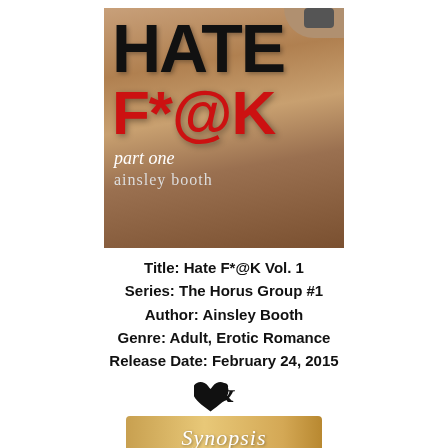[Figure (illustration): Book cover for 'Hate F*@K part one' by Ainsley Booth. Background shows a muscular male torso. Large black bold text 'HATE' at top, large red bold text 'F*@K' below it, white italic text 'part one', and gray text 'ainsley booth' at the bottom.]
Title: Hate F*@K Vol. 1
Series: The Horus Group #1
Author: Ainsley Booth
Genre: Adult, Erotic Romance
Release Date: February 24, 2015
[Figure (illustration): A decorative 'Synopsis' banner: a stylized ampersand with a heart icon above a golden/tan rectangular banner with the word 'Synopsis' in white cursive script.]